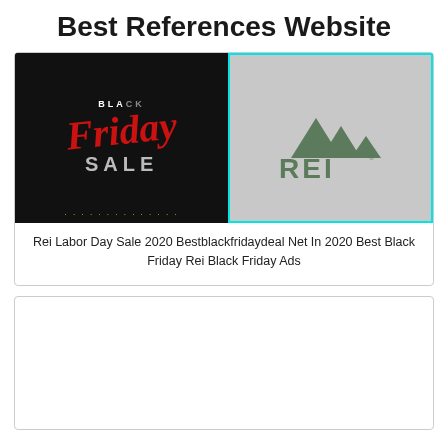Best References Website
[Figure (photo): Black Friday Sale promotional image on the left half (dark background with red 'Friday' script and grey 'SALE' text), and REI logo on the right half (grey background with teal border showing REI mountain/tree logo)]
Rei Labor Day Sale 2020 Bestblackfridaydeal Net In 2020 Best Black Friday Rei Black Friday Ads
[Figure (photo): Empty white card/placeholder image below the first card]